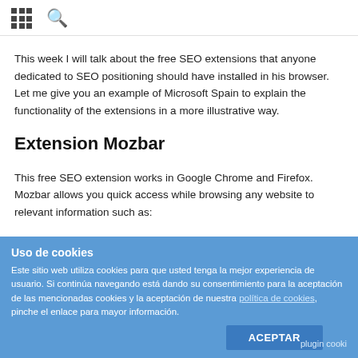grid icon, search icon
This week I will talk about the free SEO extensions that anyone dedicated to SEO positioning should have installed in his browser. Let me give you an example of Microsoft Spain to explain the functionality of the extensions in a more illustrative way.
Extension Mozbar
This free SEO extension works in Google Chrome and Firefox. Mozbar allows you quick access while browsing any website to relevant information such as:
Uso de cookies
Este sitio web utiliza cookies para que usted tenga la mejor experiencia de usuario. Si continúa navegando está dando su consentimiento para la aceptación de las mencionadas cookies y la aceptación de nuestra política de cookies, pinche el enlace para mayor información.
ACEPTAR
plugin cooki